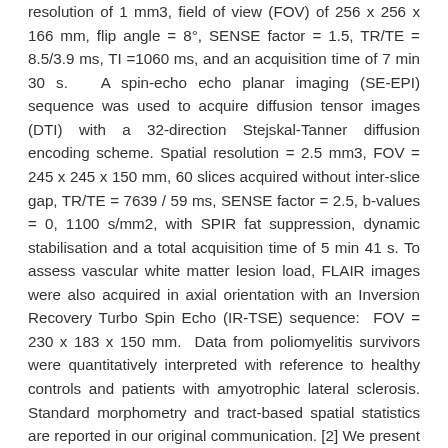resolution of 1 mm3, field of view (FOV) of 256 x 256 x 166 mm, flip angle = 8°, SENSE factor = 1.5, TR/TE = 8.5/3.9 ms, TI =1060 ms, and an acquisition time of 7 min 30 s.   A spin-echo echo planar imaging (SE-EPI) sequence was used to acquire diffusion tensor images (DTI) with a 32-direction Stejskal-Tanner diffusion encoding scheme. Spatial resolution = 2.5 mm3, FOV = 245 x 245 x 150 mm, 60 slices acquired without inter-slice gap, TR/TE = 7639 / 59 ms, SENSE factor = 2.5, b-values = 0, 1100 s/mm2, with SPIR fat suppression, dynamic stabilisation and a total acquisition time of 5 min 41 s. To assess vascular white matter lesion load, FLAIR images were also acquired in axial orientation with an Inversion Recovery Turbo Spin Echo (IR-TSE) sequence:  FOV = 230 x 183 x 150 mm.  Data from poliomyelitis survivors were quantitatively interpreted with reference to healthy controls and patients with amyotrophic lateral sclerosis. Standard morphometry and tract-based spatial statistics are reported in our original communication. [2] We present additional raw, region-of-interest (ROI) grey and white metrics to complement our voxelwise statistics. Grey matter metrics are presented as partial volume data and the following white